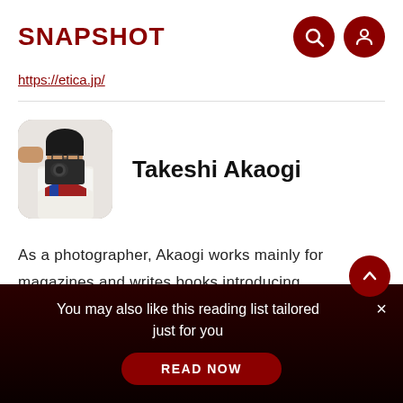SNAPSHOT
https://etica.jp/
[Figure (photo): Profile photo of Takeshi Akaogi, a man wearing glasses and a white jacket, holding a camera to his face]
Takeshi Akaogi
As a photographer, Akaogi works mainly for magazines and writes books introducing
You may also like this reading list tailored just for you
READ NOW